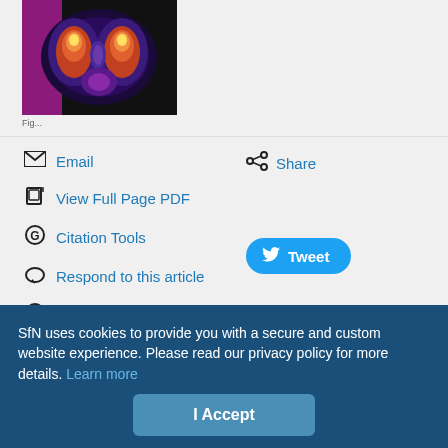[Figure (photo): Brain scan image with colorful MRI/PET visualization on dark background, showing brain cross-section with orange, red, purple and yellow colors]
Email
View Full Page PDF
Citation Tools
Respond to this article
Request Permissions
Share
Tweet
Responses to this article
SfN uses cookies to provide you with a secure and custom website experience. Please read our privacy policy for more details. Learn more
I Accept